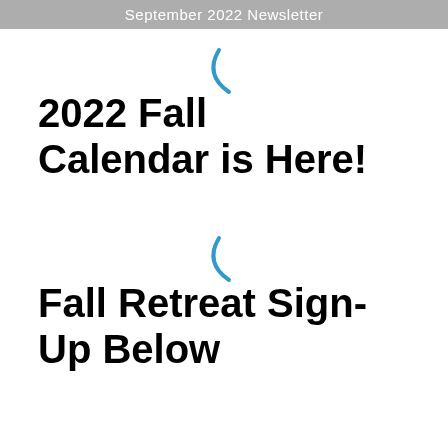September 2022 Newsletter
2022 Fall Calendar is Here!
Fall Retreat Sign-Up Below